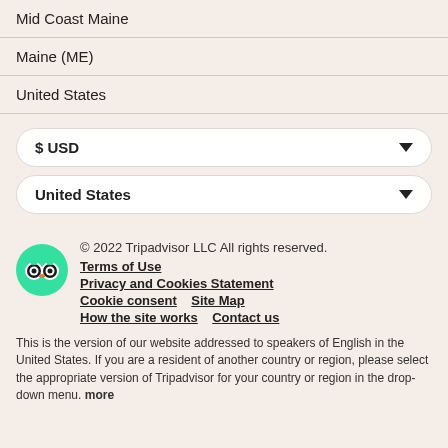Mid Coast Maine
Maine (ME)
United States
$ USD
United States
[Figure (logo): Tripadvisor owl logo, green circle with white owl face]
© 2022 Tripadvisor LLC All rights reserved.
Terms of Use
Privacy and Cookies Statement
Cookie consent   Site Map
How the site works   Contact us
This is the version of our website addressed to speakers of English in the United States. If you are a resident of another country or region, please select the appropriate version of Tripadvisor for your country or region in the drop-down menu. more